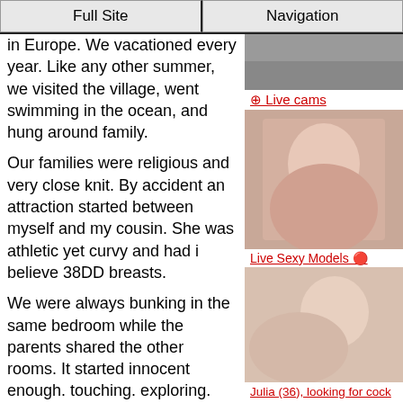Full Site | Navigation
in Europe. We vacationed every year. Like any other summer, we visited the village, went swimming in the ocean, and hung around family.
Our families were religious and very close knit. By accident an attraction started between myself and my cousin. She was athletic yet curvy and had i believe 38DD breasts.
We were always bunking in the same bedroom while the parents shared the other rooms. It started innocent enough. touching. exploring. curiosity.
When we slept at night, one night i rolled over nest to her in my sleep and i
[Figure (photo): Top right image - partially visible photo]
⊕ Live cams
[Figure (photo): Woman photo - live cams]
Live Sexy Models 🔴
[Figure (photo): Woman photo - live sexy models]
Julia (36), looking for cock in Ashburn
[Figure (photo): Bottom right partial photo]